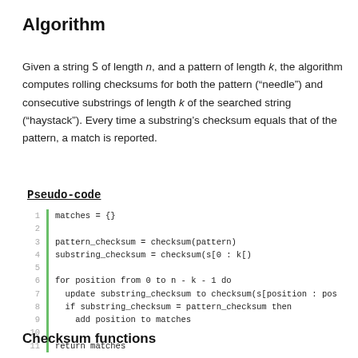Algorithm
Given a string S of length n, and a pattern of length k, the algorithm computes rolling checksums for both the pattern (“needle”) and consecutive substrings of length k of the searched string (“haystack”). Every time a substring’s checksum equals that of the pattern, a match is reported.
Pseudo-code
1  matches = {}
2
3  pattern_checksum = checksum(pattern)
4  substring_checksum = checksum(s[0 : k[)
5
6  for position from 0 to n - k - 1 do
7    update substring_checksum to checksum(s[position : pos
8    if substring_checksum = pattern_checksum then
9      add position to matches
10
11  return matches
Checksum functions